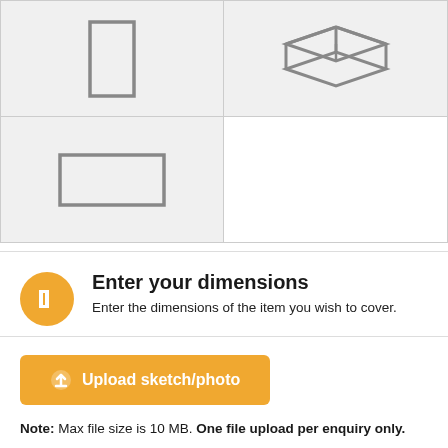[Figure (illustration): Two-column grid showing shape icons: top-left is a tall portrait rectangle outline, top-right is a 3D box/tray isometric illustration, bottom-left is a landscape rectangle outline, bottom-right is empty white.]
Enter your dimensions
Enter the dimensions of the item you wish to cover.
[Figure (illustration): Orange button labeled 'Upload sketch/photo' with an upload arrow icon]
Note: Max file size is 10 MB. One file upload per enquiry only.